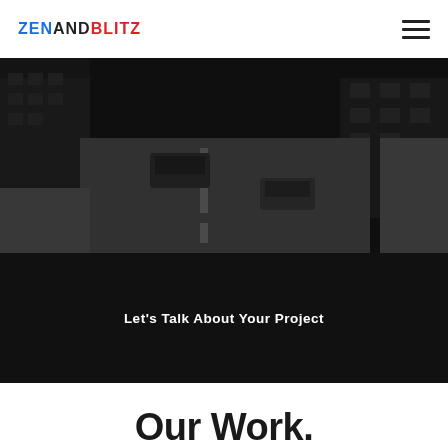ZENANDBLITZ
[Figure (photo): Aerial/overhead black and white photograph of a city street with buildings, vehicles, and sidewalk]
Let’s Talk About Your Project
Our Work.